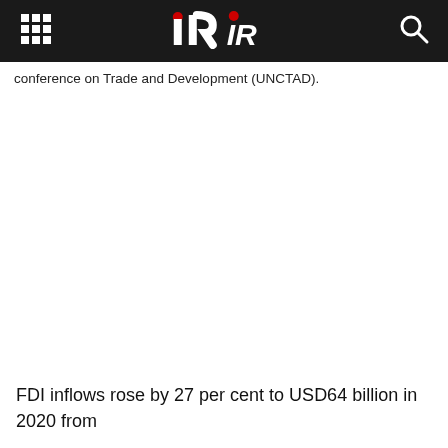IR (logo navigation bar)
conference on Trade and Development (UNCTAD).
FDI inflows rose by 27 per cent to USD64 billion in 2020 from